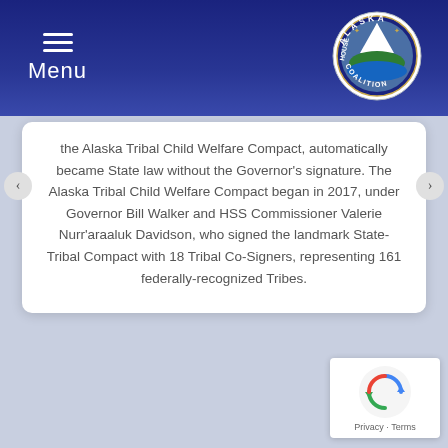Menu — Alaska House Coalition
[Figure (logo): Alaska House Coalition circular seal logo with mountain and water imagery]
the Alaska Tribal Child Welfare Compact, automatically became State law without the Governor's signature. The Alaska Tribal Child Welfare Compact began in 2017, under Governor Bill Walker and HSS Commissioner Valerie Nurr'araaluk Davidson, who signed the landmark State-Tribal Compact with 18 Tribal Co-Signers, representing 161 federally-recognized Tribes.
[Figure (logo): Google reCAPTCHA badge with rotating arrows icon and Privacy - Terms text]